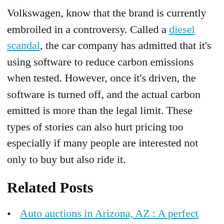Volkswagen, know that the brand is currently embroiled in a controversy. Called a diesel scandal, the car company has admitted that it's using software to reduce carbon emissions when tested. However, once it's driven, the software is turned off, and the actual carbon emitted is more than the legal limit. These types of stories can also hurt pricing too especially if many people are interested not only to buy but also ride it.
Related Posts
Auto auctions in Arizona, AZ : A perfect place to choose the car for family
Tips for Buying New Hampshire Seized